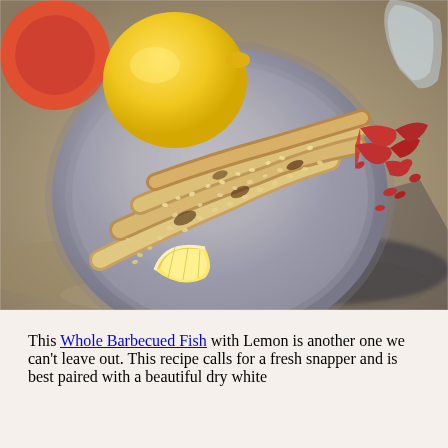[Figure (photo): A plate of grilled/barbecued shrimp with sesame seeds, a lemon wedge on the plate, and a whole lemon beside it, photographed on a sandy/concrete surface with dramatic shadows.]
This Whole Barbecued Fish with Lemon is another one we can't leave out. This recipe calls for a fresh snapper and is best paired with a beautiful dry white